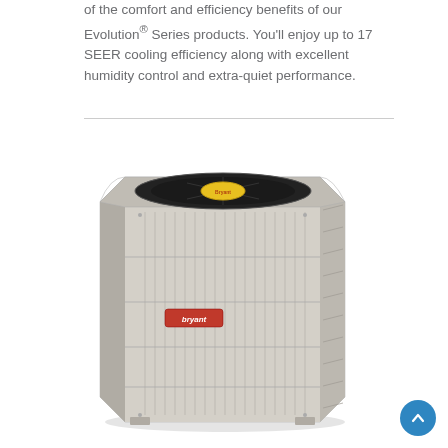of the comfort and efficiency benefits of our Evolution® Series products. You'll enjoy up to 17 SEER cooling efficiency along with excellent humidity control and extra-quiet performance.
[Figure (photo): Bryant brand outdoor air conditioning unit (heat pump / central AC condenser) shown from a three-quarter front angle. The unit has a beige/grey metal cabinet with vertical fin grilles on the sides, a black fan grille on top with a yellow Bryant branded center cap, and a red Bryant logo badge on the front panel.]